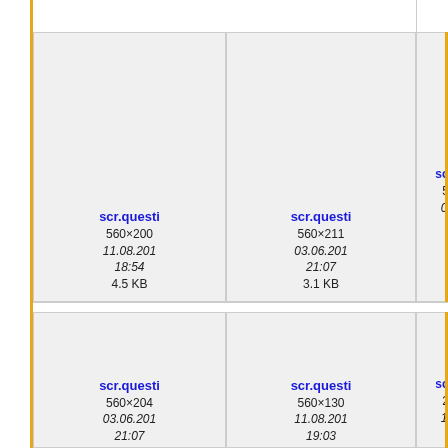[Figure (screenshot): File browser/gallery view showing image thumbnails in a grid. Row 1: three items visible - scr.questi (560x200, 11.08.201 18:54, 4.5 KB), scr.questi (560x211, 03.06.201 21:07, 3.1 KB), scr.c (partially visible). Row 2: three items visible - scr.questi (560x204, 03.06.201 21:07), scr.questi (560x130, 11.08.201 19:03), scr.c (partially visible, 23..., 11...). Left orange vertical border line visible. Gray thumbnail preview areas shown above file info text.]